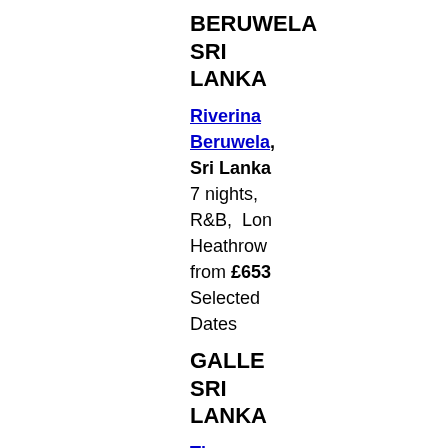BERUWELA SRI LANKA
Riverina Beruwela, Sri Lanka 7 nights, R&B, Lon Heathrow from £653 Selected Dates
GALLE SRI LANKA
The Fortress, Sri Lanka, 5 star, 7 nights from £999 p.p.